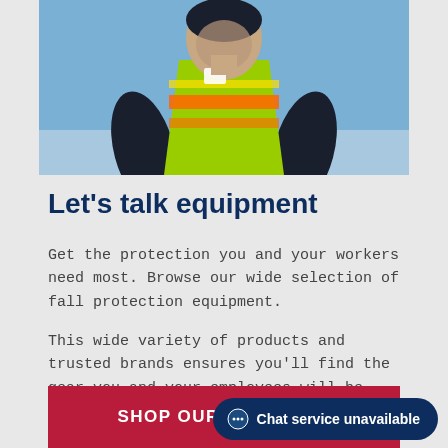[Figure (photo): Worker wearing a high-visibility safety vest and dark jacket, photographed from above against a blue/snowy background]
Let's talk equipment
Get the protection you and your workers need most. Browse our wide selection of fall protection equipment.
This wide variety of products and trusted brands ensures you'll find the gear you and your employees will be happy to wear.
SHOP OUR LARGE S…
Chat service unavailable